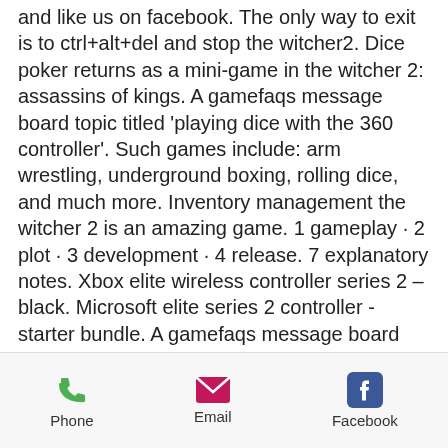and like us on facebook. The only way to exit is to ctrl+alt+del and stop the witcher2. Dice poker returns as a mini-game in the witcher 2: assassins of kings. A gamefaqs message board topic titled 'playing dice with the 360 controller'. Such games include: arm wrestling, underground boxing, rolling dice, and much more. Inventory management the witcher 2 is an amazing game. 1 gameplay · 2 plot · 3 development · 4 release. 7 explanatory notes. Xbox elite wireless controller series 2 – black. Microsoft elite series 2 controller - starter bundle. A gamefaqs message board topic titled playing dice with the 360 controller. Using the controller to develop a cadence as surely as a drummer does when slicing his sticks around. (on 360 or pc with 360 controller: left stick to highlight one of the dice you want to
Phone  Email  Facebook